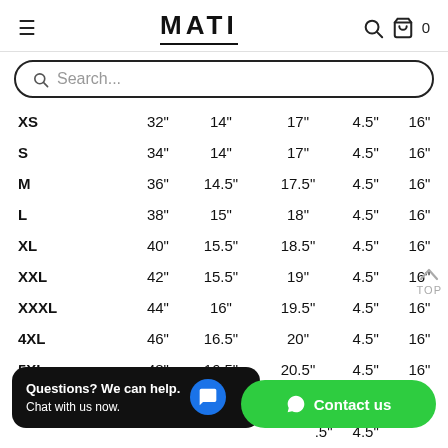MATI
| Size | Col1 | Col2 | Col3 | Col4 | Col5 |
| --- | --- | --- | --- | --- | --- |
| XS | 32" | 14" | 17" | 4.5" | 16" |
| S | 34" | 14" | 17" | 4.5" | 16" |
| M | 36" | 14.5" | 17.5" | 4.5" | 16" |
| L | 38" | 15" | 18" | 4.5" | 16" |
| XL | 40" | 15.5" | 18.5" | 4.5" | 16" |
| XXL | 42" | 15.5" | 19" | 4.5" | 16" |
| XXXL | 44" | 16" | 19.5" | 4.5" | 16" |
| 4XL | 46" | 16.5" | 20" | 4.5" | 16" |
| 5XL | 48" | 16.5" | 20.5" | 4.5" | 16" |
| ... | ... | ... | ...1" | 4.5" | 16" |
| ... | ... | ... | ....5" | 4.5" |  |
Questions? We can help. Chat with us now.
Contact us